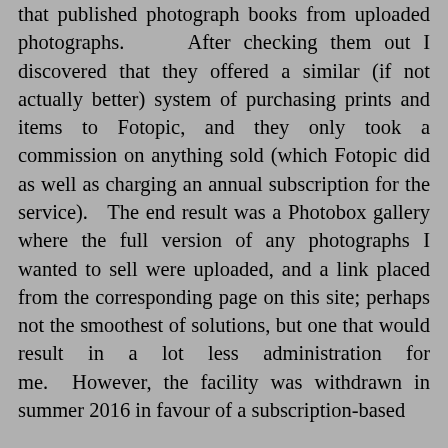that published photograph books from uploaded photographs.    After checking them out I discovered that they offered a similar (if not actually better) system of purchasing prints and items to Fotopic, and they only took a commission on anything sold (which Fotopic did as well as charging an annual subscription for the service).  The end result was a Photobox gallery where the full version of any photographs I wanted to sell were uploaded, and a link placed from the corresponding page on this site; perhaps not the smoothest of solutions, but one that would result in a lot less administration for me.  However, the facility was withdrawn in summer 2016 in favour of a subscription-based